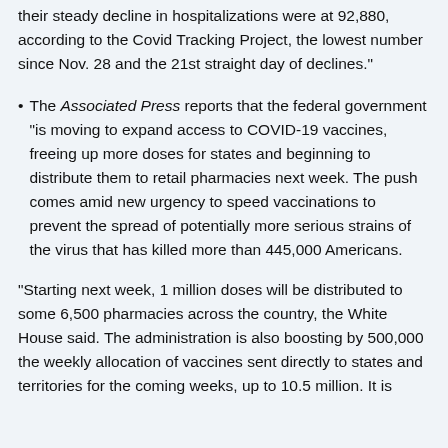their steady decline in hospitalizations were at 92,880, according to the Covid Tracking Project, the lowest number since Nov. 28 and the 21st straight day of declines."
The Associated Press reports that the federal government "is moving to expand access to COVID-19 vaccines, freeing up more doses for states and beginning to distribute them to retail pharmacies next week. The push comes amid new urgency to speed vaccinations to prevent the spread of potentially more serious strains of the virus that has killed more than 445,000 Americans.
"Starting next week, 1 million doses will be distributed to some 6,500 pharmacies across the country, the White House said. The administration is also boosting by 500,000 the weekly allocation of vaccines sent directly to states and territories for the coming weeks, up to 10.5 million. It is